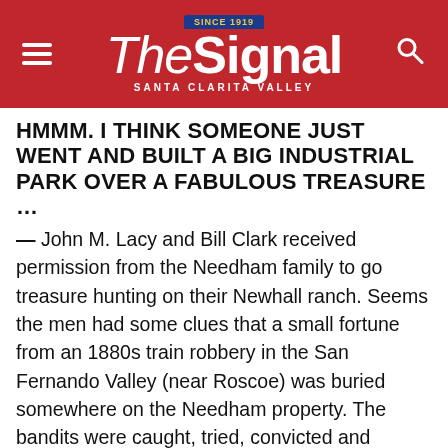The Signal — Santa Clarita Valley (Since 1919)
HMMM. I THINK SOMEONE JUST WENT AND BUILT A BIG INDUSTRIAL PARK OVER A FABULOUS TREASURE …
— John M. Lacy and Bill Clark received permission from the Needham family to go treasure hunting on their Newhall ranch. Seems the men had some clues that a small fortune from an 1880s train robbery in the San Fernando Valley (near Roscoe) was buried somewhere on the Needham property. The bandits were caught, tried, convicted and served jail time. The treasure hunters dug a hole big enough to bury a train, but didn't find any boxes of gold. Adding insult to injury — AFTER they had sweated